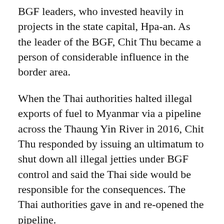BGF leaders, who invested heavily in projects in the state capital, Hpa-an. As the leader of the BGF, Chit Thu became a person of considerable influence in the border area.
When the Thai authorities halted illegal exports of fuel to Myanmar via a pipeline across the Thaung Yin River in 2016, Chit Thu responded by issuing an ultimatum to shut down all illegal jetties under BGF control and said the Thai side would be responsible for the consequences. The Thai authorities gave in and re-opened the pipeline.
The current dispute centres on the BGF's involvement, through its Chit Linn Myaing company, in a partnership with Bangkok-based Yatai International, a company owned by ethnic